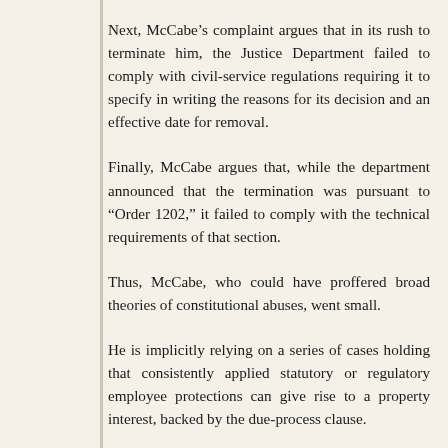Next, McCabe’s complaint argues that in its rush to terminate him, the Justice Department failed to comply with civil-service regulations requiring it to specify in writing the reasons for its decision and an effective date for removal.
Finally, McCabe argues that, while the department announced that the termination was pursuant to “Order 1202,” it failed to comply with the technical requirements of that section.
Thus, McCabe, who could have proffered broad theories of constitutional abuses, went small.
He is implicitly relying on a series of cases holding that consistently applied statutory or regulatory employee protections can give rise to a property interest, backed by the due-process clause.
It’s not a bulletproof approach. Expect the department to argue in its response, due 60 days from the filing, that McCabe already has a property interest in the